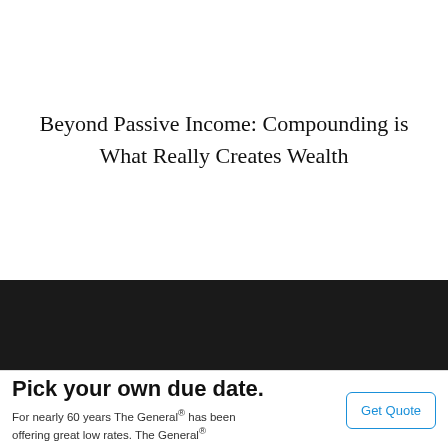Beyond Passive Income: Compounding is What Really Creates Wealth
[Figure (other): Dark navigation bar with a white chevron/collapse button on the left side]
Pick your own due date.
For nearly 60 years The General® has been offering great low rates. The General®
Get Quote